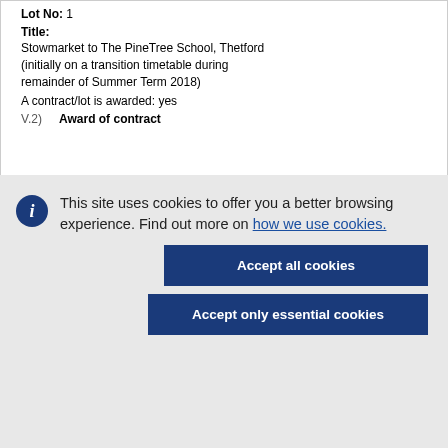Lot No: 1
Title:
Stowmarket to The PineTree School, Thetford (initially on a transition timetable during remainder of Summer Term 2018)
A contract/lot is awarded: yes
V.2)  Award of contract
This site uses cookies to offer you a better browsing experience. Find out more on how we use cookies.
Accept all cookies
Accept only essential cookies